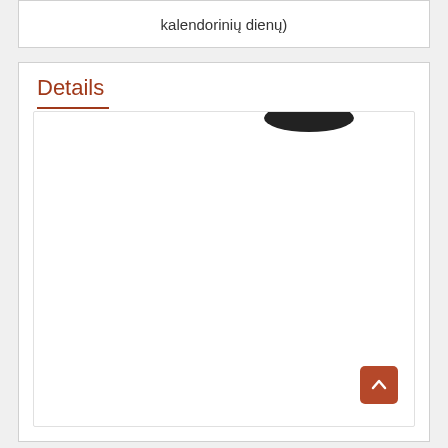kalendorinių dienų)
Details
[Figure (photo): Inner card area with a partial dark oval shape visible at top right, resembling the top of a head/hat. A back-to-top button (brown/orange rounded square with upward chevron arrow) is visible at the bottom right corner of the card.]